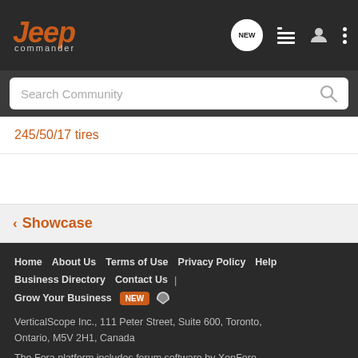Jeep commander — navigation header with search, NEW, list, user, and more icons
245/50/17 tires
< Showcase
Home   About Us   Terms of Use   Privacy Policy   Help   Business Directory   Contact Us   |   Grow Your Business   NEW
VerticalScope Inc., 111 Peter Street, Suite 600, Toronto, Ontario, M5V 2H1, Canada
The Fora platform includes forum software by XenForo